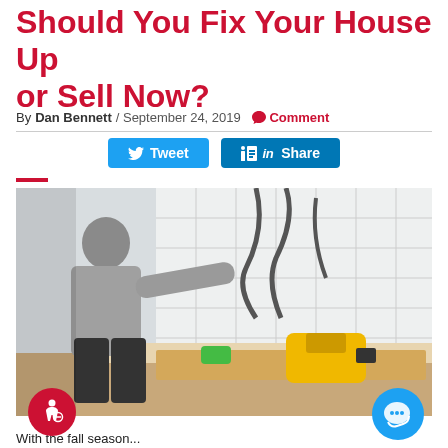Should You Fix Your House Up or Sell Now?
By Dan Bennett / September 24, 2019 💬 Comment
[Figure (other): Social sharing buttons: Tweet (Twitter/blue) and Share (LinkedIn/dark blue)]
[Figure (photo): A worker renovating a kitchen, tiling a backsplash wall. Tools including a yellow power drill and lumber are visible in the foreground.]
With the fall season...